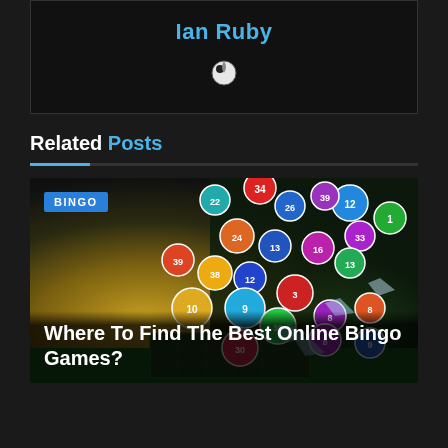Ian Ruby
[Figure (illustration): Globe/world icon in white on dark background]
Related Posts
[Figure (photo): Colorful numbered bingo balls exploding upward from a bingo board on a green surface, with gold/dark background]
BINGO
Where To Find The Best Online Bingo Games?